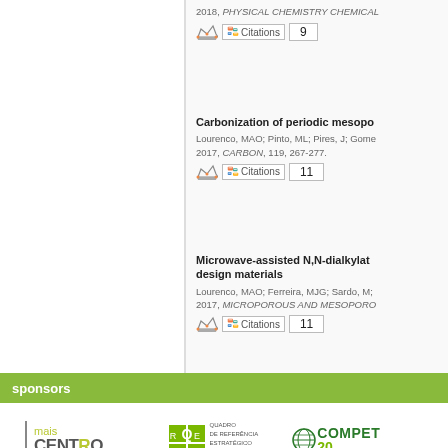2018, PHYSICAL CHEMISTRY CHEMICAL
Citations 9
Carbonization of periodic mesopo
Lourenco, MAO; Pinto, ML; Pires, J; Gome
2017, CARBON, 119, 267-277.
Citations 11
Microwave-assisted N,N-dialkylat design materials
Lourenco, MAO; Ferreira, MJG; Sardo, M;
2017, MICROPOROUS AND MESOPORO
Citations 11
sponsors
[Figure (logo): mais CENTRO - Programa Operacional Regional do Centro logo]
[Figure (logo): QREN - Quadro de Referência Estratégico Nacional logo]
[Figure (logo): COMPETE 20 - Programa Operacional Competitividade e Internacionalização logo]